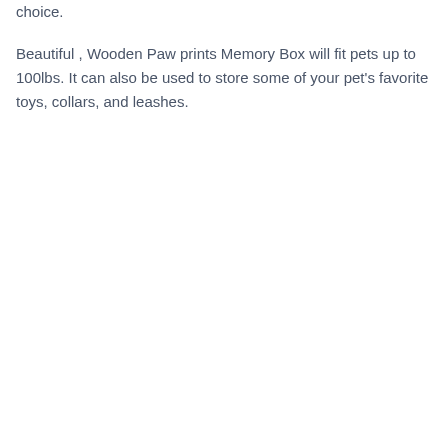choice.
Beautiful , Wooden Paw prints Memory Box will fit pets up to 100lbs. It can also be used to store some of your pet's favorite toys, collars, and leashes.